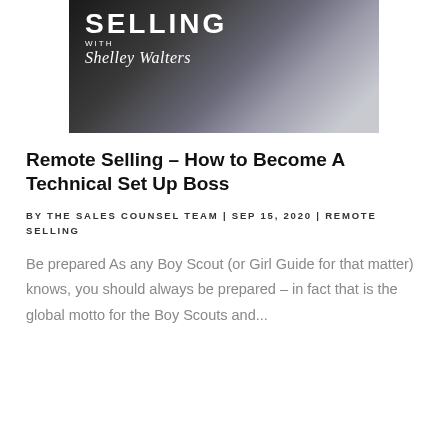[Figure (photo): Banner/header image for a podcast or blog called 'Selling with Shelley Walters' — dark background with a man in a light blue shirt, overlaid with bold white text 'SELLING' and script text 'Shelley Walters']
Remote Selling – How to Become A Technical Set Up Boss
BY THE SALES COUNSEL TEAM | SEP 15, 2020 | REMOTE SELLING
Be prepared As any Boy Scout (or Girl Guide for that matter) knows, you should always be prepared – in fact that is the global motto for the Boy Scouts and...